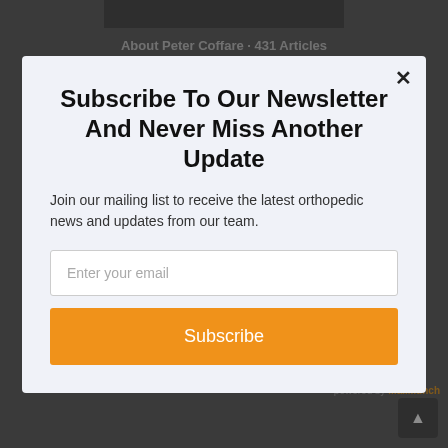About Peter Coffare · 431 Articles
Subscribe To Our Newsletter And Never Miss Another Update
Join our mailing list to receive the latest orthopedic news and updates from our team.
Enter your email
Subscribe
management, digital marketing and professional education. Peter holds a B.S. degree in Biology from Northern Illinois University.
powered by MailMunch